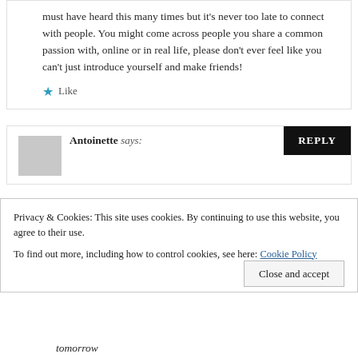must have heard this many times but it's never too late to connect with people. You might come across people you share a common passion with, online or in real life, please don't ever feel like you can't just introduce yourself and make friends!
★ Like
REPLY
Antoinette says:
Privacy & Cookies: This site uses cookies. By continuing to use this website, you agree to their use. To find out more, including how to control cookies, see here: Cookie Policy
Close and accept
tomorrow